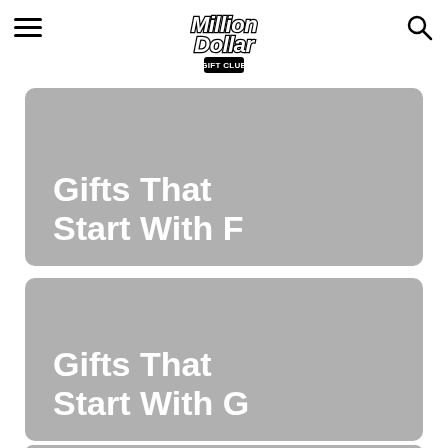Million Dollar Gift Club
[Figure (logo): Million Dollar Gift Club logo in cursive bold script with 'GIFT CLUB' subtitle]
Gifts That Start With F
Gifts That Start With G